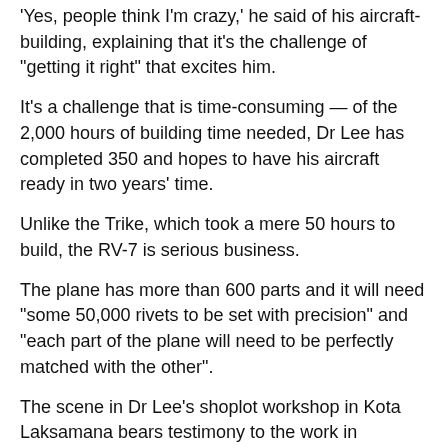'Yes, people think I'm crazy,' he said of his aircraft-building, explaining that it's the challenge of "getting it right" that excites him.
It's a challenge that is time-consuming — of the 2,000 hours of building time needed, Dr Lee has completed 350 and hopes to have his aircraft ready in two years' time.
Unlike the Trike, which took a mere 50 hours to build, the RV-7 is serious business.
The plane has more than 600 parts and it will need "some 50,000 rivets to be set with precision" and "each part of the plane will need to be perfectly matched with the other".
The scene in Dr Lee's shoplot workshop in Kota Laksamana bears testimony to the work in progress — scores of shiny blue metal sheets, a welding machine, all kinds of gadgetry and lots of nuts and bolts in plastic medicine bottles.
The amateur engineer himself sports overalls, boots, ear plugs and protective eyewear.